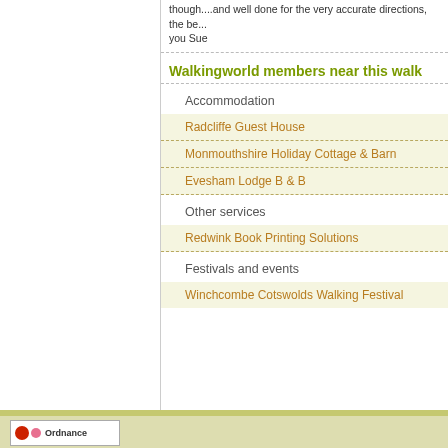though....and well done for the very accurate directions, the be... you Sue
Walkingworld members near this walk
Accommodation
Radcliffe Guest House
Monmouthshire Holiday Cottage & Barn
Evesham Lodge B & B
Other services
Redwink Book Printing Solutions
Festivals and events
Winchcombe Cotswolds Walking Festival
Ordnance